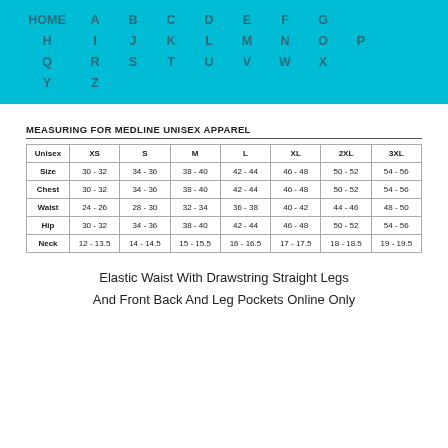HOME A B C D E F G H I J K L M N O P Q R S T U V W X Y Z
MEASURING FOR MEDLINE UNISEX APPAREL
| Unisex | XS | S | M | L | XL | 2XL | 3XL |
| --- | --- | --- | --- | --- | --- | --- | --- |
| Size | 30-32 | 34-36 | 38-40 | 42-44 | 46-48 | 50-52 | 54-56 |
| Chest | 30-32 | 34-36 | 38-40 | 42-44 | 46-48 | 50-52 | 54-56 |
| Waist | 24-26 | 28-30 | 32-34 | 36-38 | 40-42 | 44-46 | 48-50 |
| Hip | 30-32 | 34-36 | 38-40 | 42-44 | 46-48 | 50-52 | 54-56 |
| Neck | 12-13.5 | 14-14.5 | 15-15.5 | 16-16.5 | 17-17.5 | 18-18.5 | 19-19.5 |
Elastic Waist With Drawstring Straight Legs And Front Back And Leg Pockets Online Only